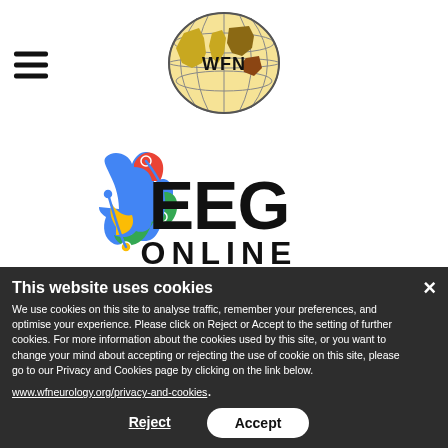[Figure (logo): WFN globe logo with world map in gold/green/brown and 'WFN' text, surrounded by latitude/longitude grid lines]
[Figure (logo): EEG Online logo: colorful brain illustration (red, blue, green, yellow segments with connecting dots) next to text 'EEG ONLINE' in bold black]
This website uses cookies
We use cookies on this site to analyse traffic, remember your preferences, and optimise your experience. Please click on Reject or Accept to the setting of further cookies. For more information about the cookies used by this site, or you want to change your mind about accepting or rejecting the use of cookie on this site, please go to our Privacy and Cookies page by clicking on the link below.
www.wfneurology.org/privacy-and-cookies.
Reject    Accept